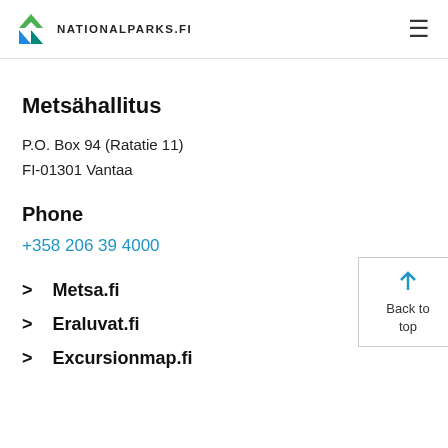NATIONALPARKS.FI
Metsähallitus
P.O. Box 94 (Ratatie 11)
FI-01301 Vantaa
Phone
+358 206 39 4000
> Metsa.fi
> Eraluvat.fi
> Excursionmap.fi
Back to top